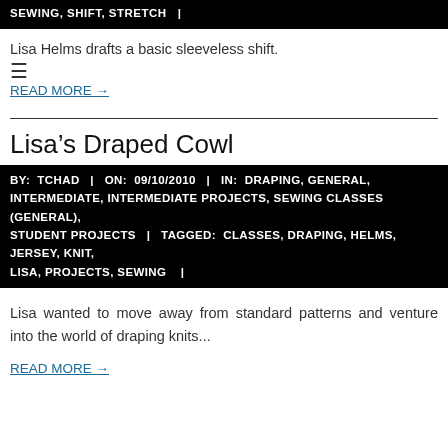SEWING, SHIFT, STRETCH |
Lisa Helms drafts a basic sleeveless shift.
READ MORE →
Lisa's Draped Cowl
BY: TCHAD | ON: 09/10/2010 | IN: DRAPING, GENERAL, INTERMEDIATE, INTERMEDIATE PROJECTS, SEWING CLASSES (GENERAL), STUDENT PROJECTS | TAGGED: CLASSES, DRAPING, HELMS, JERSEY, KNIT, LISA, PROJECTS, SEWING |
Lisa wanted to move away from standard patterns and venture into the world of draping knits...
READ MORE →